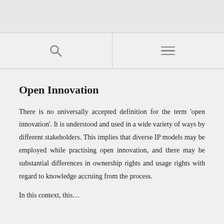[Figure (other): Navigation bar with search icon on the left and hamburger menu icon on the right, separated by a vertical divider]
Open Innovation
There is no universally accepted definition for the term 'open innovation'. It is understood and used in a wide variety of ways by different stakeholders. This implies that diverse IP models may be employed while practising open innovation, and there may be substantial differences in ownership rights and usage rights with regard to knowledge accruing from the process.
In this context, this…